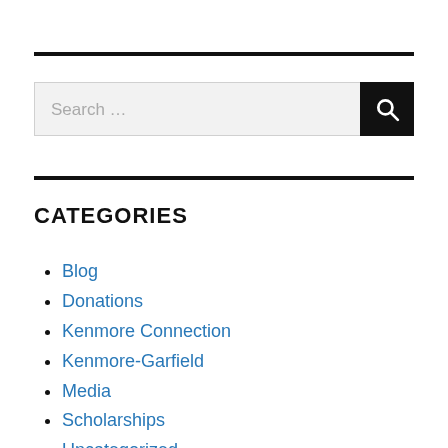[Figure (other): Search bar with text field showing 'Search …' placeholder and a dark search button with magnifying glass icon]
CATEGORIES
Blog
Donations
Kenmore Connection
Kenmore-Garfield
Media
Scholarships
Uncategorized